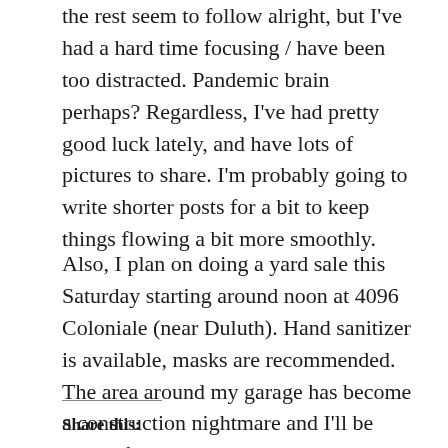the rest seem to follow alright, but I've had a hard time focusing / have been too distracted. Pandemic brain perhaps? Regardless, I've had pretty good luck lately, and have lots of pictures to share. I'm probably going to write shorter posts for a bit to keep things flowing a bit more smoothly.
Also, I plan on doing a yard sale this Saturday starting around noon at 4096 Coloniale (near Duluth). Hand sanitizer is available, masks are recommended. The area around my garage has become a construction nightmare and I'll be lucky if I have a sale there again this year.
Share this: